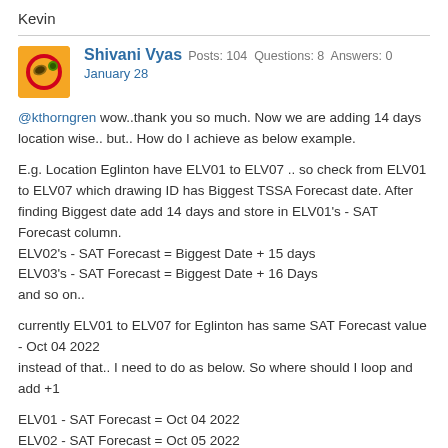Kevin
Shivani Vyas  Posts: 104  Questions: 8  Answers: 0
January 28
@kthorngren wow..thank you so much. Now we are adding 14 days location wise.. but.. How do I achieve as below example.

E.g. Location Eglinton have ELV01 to ELV07 .. so check from ELV01 to ELV07 which drawing ID has Biggest TSSA Forecast date. After finding Biggest date add 14 days and store in ELV01's - SAT Forecast column.
ELV02's - SAT Forecast = Biggest Date + 15 days
ELV03's - SAT Forecast = Biggest Date + 16 Days
and so on..

currently ELV01 to ELV07 for Eglinton has same SAT Forecast value - Oct 04 2022
instead of that.. I need to do as below. So where should I loop and add +1

ELV01 - SAT Forecast = Oct 04 2022
ELV02 - SAT Forecast = Oct 05 2022